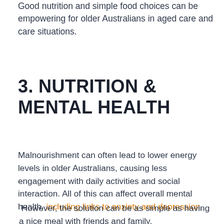Good nutrition and simple food choices can be empowering for older Australians in aged care and care situations.
3. NUTRITION & MENTAL HEALTH
Malnourishment can often lead to lower energy levels in older Australians, causing less engagement with daily activities and social interaction. All of this can affect overall mental health, including links to anxiety and depression.
However, the solution can be as simple as having a nice meal with friends and family.